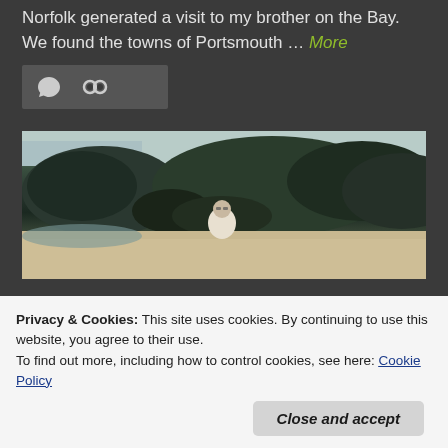Norfolk generated a visit to my brother on the Bay. We found the towns of Portsmouth … More
[Figure (photo): Icon bar with comment bubble and link icons on a dark grey background]
[Figure (photo): Outdoor photo of a person standing near large dark rocks by the water]
Privacy & Cookies: This site uses cookies. By continuing to use this website, you agree to their use.
To find out more, including how to control cookies, see here: Cookie Policy
Close and accept